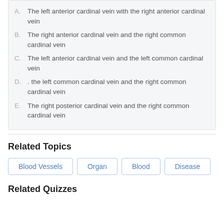A. The left anterior cardinal vein with the right anterior cardinal vein
B. The right anterior cardinal vein and the right common cardinal vein
C. The left anterior cardinal vein and the left common cardinal vein
D. . the left common cardinal vein and the right common cardinal vein
E. The right posterior cardinal vein and the right common cardinal vein
Related Topics
Blood Vessels  Organ  Blood  Disease
Related Quizzes